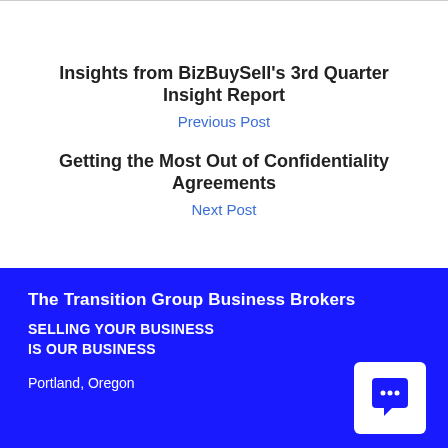Insights from BizBuySell's 3rd Quarter Insight Report
Previous Post
Getting the Most Out of Confidentiality Agreements
Next Post
The Transition Group Business Brokers
SELLING YOUR BUSINESS IS OUR BUSINESS
Portland, Oregon